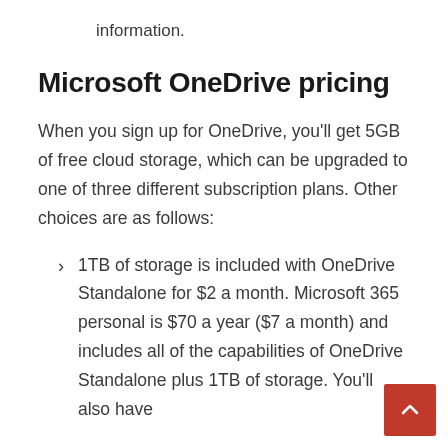information.
Microsoft OneDrive pricing
When you sign up for OneDrive, you'll get 5GB of free cloud storage, which can be upgraded to one of three different subscription plans. Other choices are as follows:
1TB of storage is included with OneDrive Standalone for $2 a month. Microsoft 365 personal is $70 a year ($7 a month) and includes all of the capabilities of OneDrive Standalone plus 1TB of storage. You'll also have